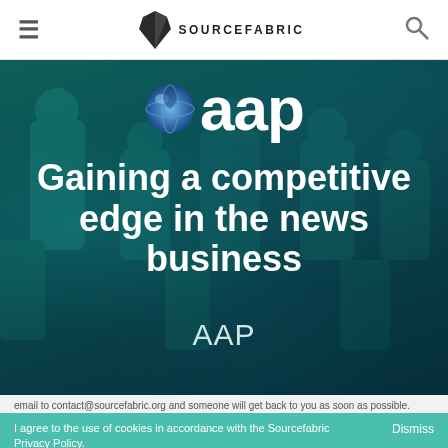≡  SOURCEFABRIC  🔍
[Figure (screenshot): Sourcefabric website hero section showing AAP case study. Dark teal background with blurred faces, AAP logo (sphere icon + 'aap' text), headline 'Gaining a competitive edge in the news business', and 'AAP' subtitle text.]
Gaining a competitive edge in the news business
AAP
I agree to the use of cookies in accordance with the Sourcefabric Privacy Policy.
Dismiss
email to contact@sourcefabric.org and someone will get back to you as soon as possible.